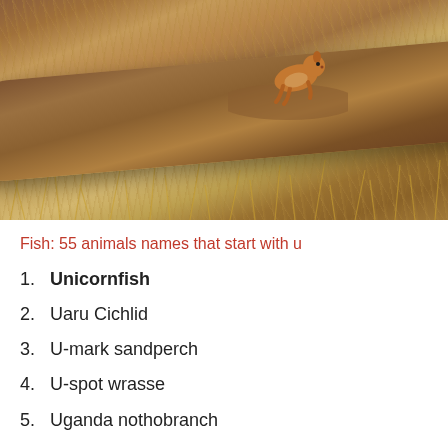[Figure (photo): A small squirrel (ground squirrel) perched on top of a large weathered log/driftwood surrounded by dry golden grass in an arid landscape.]
Fish: 55 animals names that start with u
1. Unicornfish
2. Uaru Cichlid
3. U-mark sandperch
4. U-spot wrasse
5. Uganda nothobranch